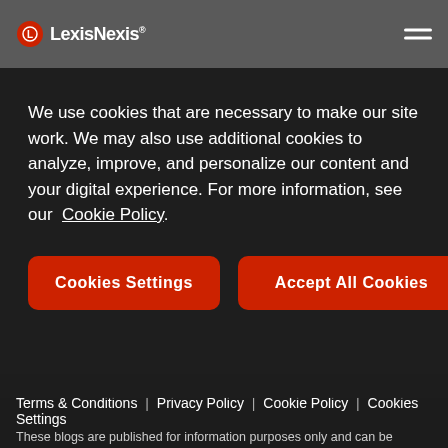LexisNexis
We use cookies that are necessary to make our site work. We may also use additional cookies to analyze, improve, and personalize our content and your digital experience. For more information, see our Cookie Policy.
Cookies Settings
Accept All Cookies
Terms & Conditions | Privacy Policy | Cookie Policy | Cookies Settings
These blogs are published for information purposes only and can be statements of opinion. Although we LexisNexis Risk Solutions rigorously check the accuracy of all information at the time of publishing the blogs, no representations or warranties are expressed or implied as to the blog, its contents and any accompanying materials and it should not be relied upon for acting in specific